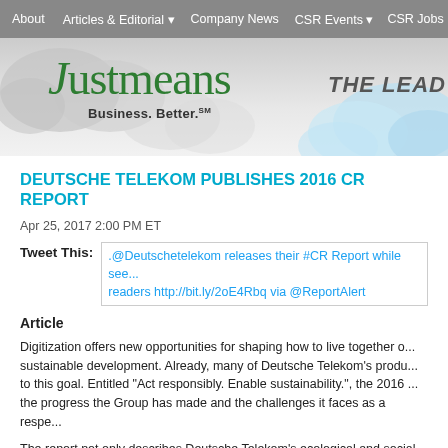About | Articles & Editorial | Company News | CSR Events | CSR Jobs
[Figure (logo): Justmeans logo with tagline 'Business. Better. SM' and 'THE LEAD' text on banner with cloud graphics]
DEUTSCHE TELEKOM PUBLISHES 2016 CR REPORT
Apr 25, 2017 2:00 PM ET
Tweet This: .@Deutschetelekom releases their #CR Report while see... readers http://bit.ly/2oE4Rbq via @ReportAlert
Article
Digitization offers new opportunities for shaping how to live together o... sustainable development. Already, many of Deutsche Telekom's produ... to this goal. Entitled "Act responsibly. Enable sustainability.", the 2016 ... the progress the Group has made and the challenges it faces as a respe...
The report not only describes Deutsche Telekom's ecological and social... dialog with its readers. They can give feedback directly on selected top...